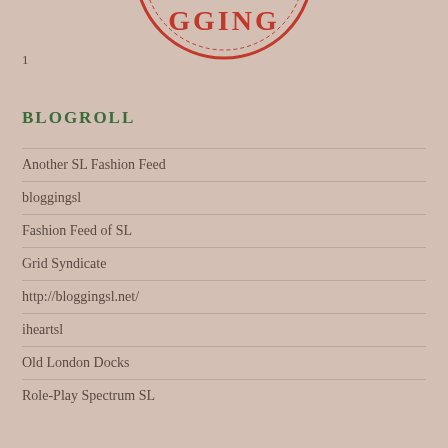[Figure (logo): Partial circular logo with text GGING visible at top of page]
1
BLOGROLL
Another SL Fashion Feed
bloggingsl
Fashion Feed of SL
Grid Syndicate
http://bloggingsl.net/
iheartsl
Old London Docks
Role-Play Spectrum SL